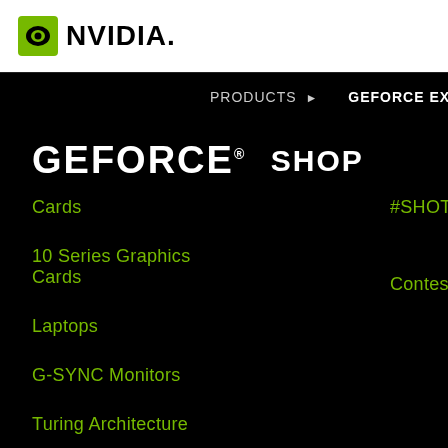[Figure (logo): NVIDIA logo with green eye icon and NVIDIA wordmark]
PRODUCTS ▶   GEFORCE EXPERIEN
GEFORCE® SHOP
Cards
10 Series Graphics Cards
Laptops
G-SYNC Monitors
Turing Architecture
#SHOTWITHGEFORCE
Contest Winners